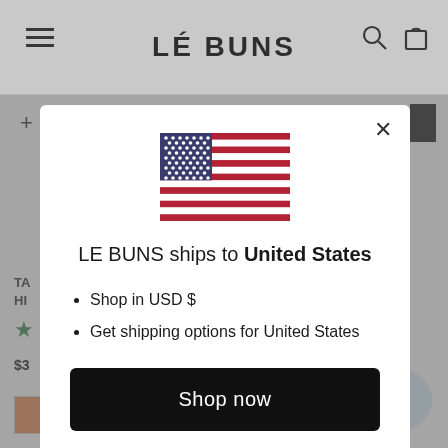LÉ BUNS
[Figure (screenshot): Website screenshot showing LÉ BUNS e-commerce header with hamburger menu, search and cart icons, and a modal dialog overlaying the page.]
LE BUNS ships to United States
Shop in USD $
Get shipping options for United States
Shop now
Change shipping country